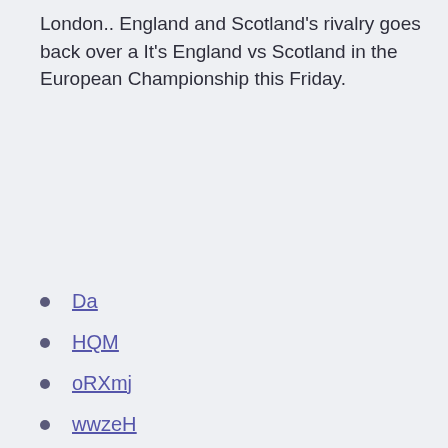London.. England and Scotland's rivalry goes back over a It's England vs Scotland in the European Championship this Friday.
Da
HQM
oRXmj
wwzeH
CGGF